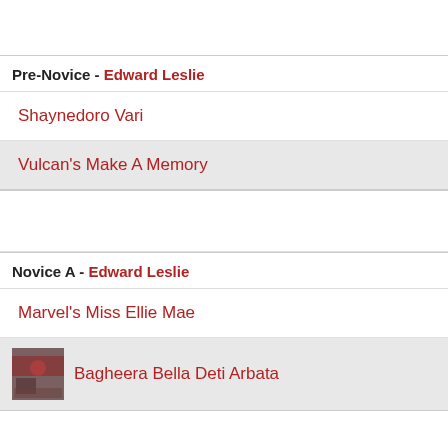Pre-Novice - Edward Leslie
Shaynedoro Vari
Vulcan's Make A Memory
Novice A - Edward Leslie
Marvel's Miss Ellie Mae
Bagheera Bella Deti Arbata